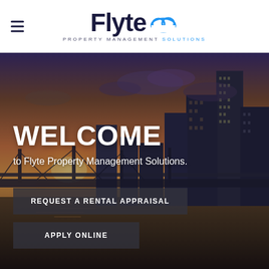[Figure (logo): Flyte Property Management Solutions logo with hamburger menu icon on the left. The logo features the word 'Flyte' in large dark navy bold font with a blue cloud icon, and 'PROPERTY MANAGEMENT SOLUTIONS' in small spaced caps below.]
[Figure (photo): Hero image of a city skyline at sunset/dusk with orange sky, skyscrapers, a bridge, and waterfront reflection. Overlaid with WELCOME headline text and two dark buttons: REQUEST A RENTAL APPRAISAL and APPLY ONLINE.]
WELCOME
to Flyte Property Management Solutions.
REQUEST A RENTAL APPRAISAL
APPLY ONLINE